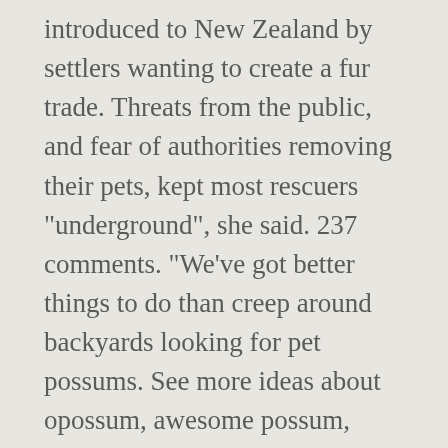introduced to New Zealand by settlers wanting to create a fur trade. Threats from the public, and fear of authorities removing their pets, kept most rescuers "underground", she said. 237 comments. "We've got better things to do than creep around backyards looking for pet possums. See more ideas about opossum, awesome possum, possum. Our natural fibre clothing combines merino wool, possum fur, and silk to offer the ultimate in warmth, practicality, and style. Possum Fur Hot Water Bottle Cover. Cow milk is too thick for most animals. “But certainly the way those joeys were killed was not ideal and it could have been done in a better way.